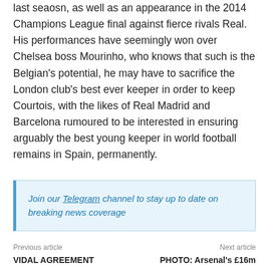last seaosn, as well as an appearance in the 2014 Champions League final against fierce rivals Real. His performances have seemingly won over Chelsea boss Mourinho, who knows that such is the Belgian's potential, he may have to sacrifice the London club's best ever keeper in order to keep Courtois, with the likes of Real Madrid and Barcelona rumoured to be interested in ensuring arguably the best young keeper in world football remains in Spain, permanently.
Join our Telegram channel to stay up to date on breaking news coverage
Previous article | Next article | VIDAL AGREEMENT | PHOTO: Arsenal's £16m